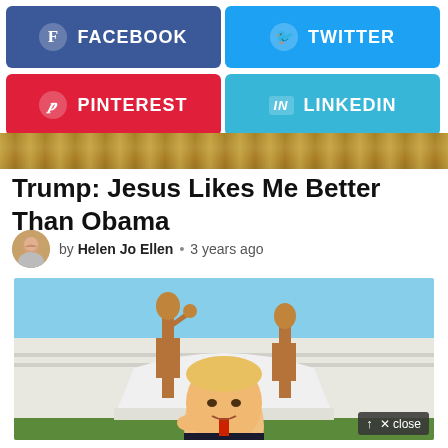[Figure (screenshot): Social media share buttons: Facebook (blue), Twitter (blue), Pinterest (red), LinkedIn (light blue)]
[Figure (photo): Partial architectural header image showing golden/bronze stonework]
Trump: Jesus Likes Me Better Than Obama
by Helen Jo Ellen · 3 years ago
[Figure (photo): Photo of Donald Trump giving thumbs up in front of two large bronze statues on a white building background]
[Figure (screenshot): Close button overlay in bottom right corner]